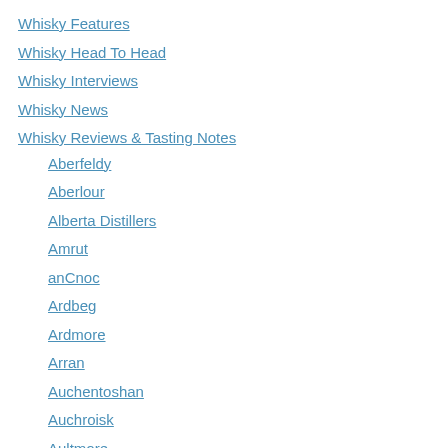Whisky Features
Whisky Head To Head
Whisky Interviews
Whisky News
Whisky Reviews & Tasting Notes
Aberfeldy
Aberlour
Alberta Distillers
Amrut
anCnoc
Ardbeg
Ardmore
Arran
Auchentoshan
Auchroisk
Aultmore
Balblair
Ballantine's
Balvenie